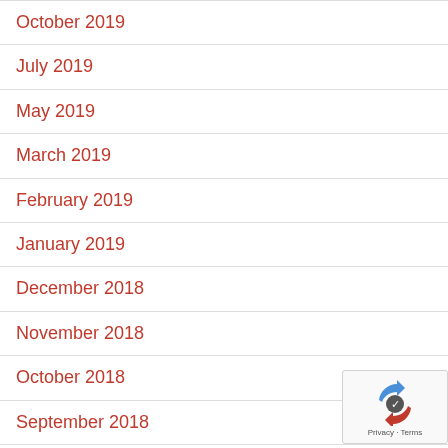October 2019
July 2019
May 2019
March 2019
February 2019
January 2019
December 2018
November 2018
October 2018
September 2018
August 2018
July 2018
June 2018
[Figure (logo): reCAPTCHA badge with Privacy and Terms links]